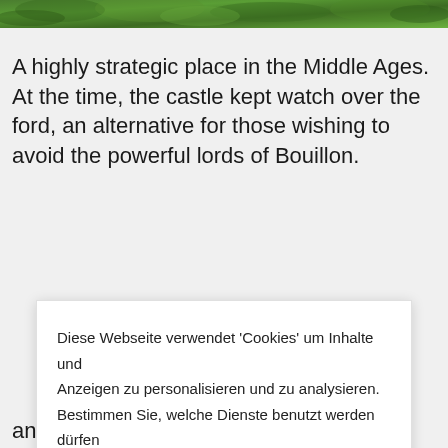[Figure (photo): Green foliage/forest image strip at top of page]
A highly strategic place in the Middle Ages. At the time, the castle kept watch over the ford, an alternative for those wishing to avoid the powerful lords of Bouillon.
Diese Webseite verwendet 'Cookies' um Inhalte und Anzeigen zu personalisieren und zu analysieren. Bestimmen Sie, welche Dienste benutzt werden dürfen
ERLAUBE ALLE COOKIES
VERBIETE ALLE COOKIES
PERSONALISIEREN
and Liège